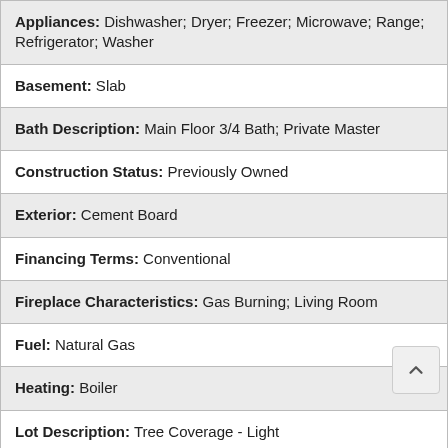| Appliances: Dishwasher; Dryer; Freezer; Microwave; Range; Refrigerator; Washer |
| Basement: Slab |
| Bath Description: Main Floor 3/4 Bath; Private Master |
| Construction Status: Previously Owned |
| Exterior: Cement Board |
| Financing Terms: Conventional |
| Fireplace Characteristics: Gas Burning; Living Room |
| Fuel: Natural Gas |
| Heating: Boiler |
| Lot Description: Tree Coverage - Light |
| Outbuildings: Additional Garage |
| Parking Characteristics: Detached Garage |
| Road Frontage: City Street |
| Road Responsibility: Public Maintained Road |